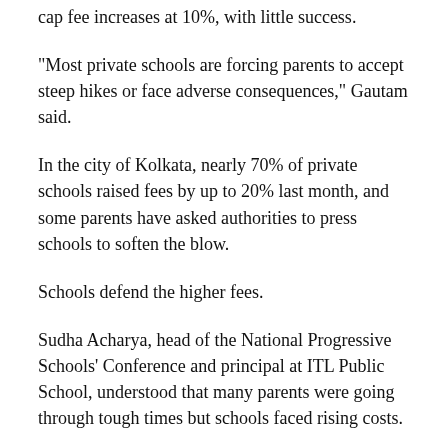cap fee increases at 10%, with little success.
"Most private schools are forcing parents to accept steep hikes or face adverse consequences," Gautam said.
In the city of Kolkata, nearly 70% of private schools raised fees by up to 20% last month, and some parents have asked authorities to press schools to soften the blow.
Schools defend the higher fees.
Sudha Acharya, head of the National Progressive Schools' Conference and principal at ITL Public School, understood that many parents were going through tough times but schools faced rising costs.
"Without increasing school fees again, maintaining quality is a little difficult," she said.
The Delhi-based Centre for...